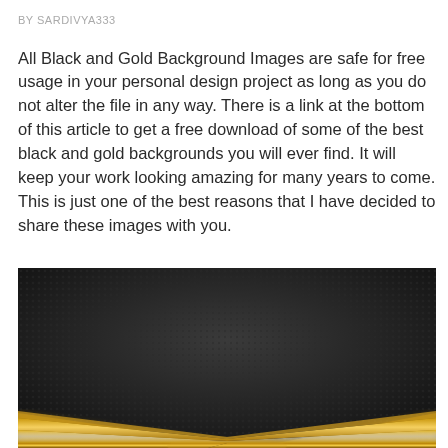BY SARDIVYA333
All Black and Gold Background Images are safe for free usage in your personal design project as long as you do not alter the file in any way. There is a link at the bottom of this article to get a free download of some of the best black and gold backgrounds you will ever find. It will keep your work looking amazing for many years to come. This is just one of the best reasons that I have decided to share these images with you.
[Figure (illustration): Black and gold background image featuring dark textured carbon-fiber-like surface with diagonal gold metallic stripes/lines converging toward the bottom center, creating a V-shape pattern with glowing golden edges.]